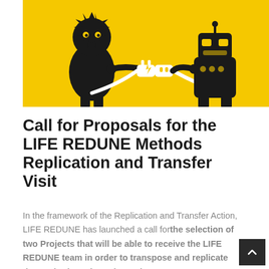[Figure (illustration): Yellow background illustration showing two cartoon characters (one resembling a lion/monster, one resembling a robot) connecting an electrical plug together, in black and white on yellow background.]
Call for Proposals for the LIFE REDUNE Methods Replication and Transfer Visit
In the framework of the Replication and Transfer Action, LIFE REDUNE has launched a call for the selection of two Projects that will be able to receive the LIFE REDUNE team in order to transpose and replicate the methods and good practices